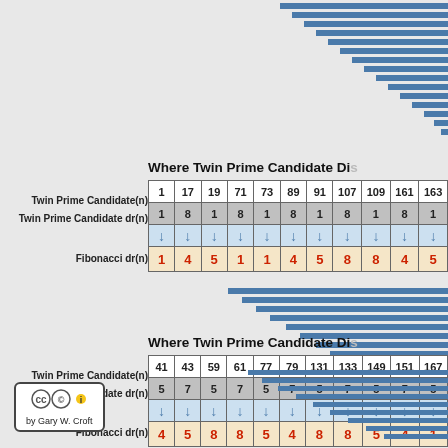[Figure (other): Blue horizontal bars decoration top right]
Where Twin Prime Candidate Di...
| Twin Prime Candidate(n) | 1 | 17 | 19 | 71 | 73 | 89 | 91 | 107 | 109 | 161 | 163 |
| --- | --- | --- | --- | --- | --- | --- | --- | --- | --- | --- | --- |
| Twin Prime Candidate dr(n) | 1 | 8 | 1 | 8 | 1 | 8 | 1 | 8 | 1 | 8 | 1 |
| (arrows) | ↓ | ↓ | ↓ | ↓ | ↓ | ↓ | ↓ | ↓ | ↓ | ↓ | ↓ |
| Fibonacci dr(n) | 1 | 4 | 5 | 1 | 1 | 4 | 5 | 8 | 8 | 4 | 5 |
[Figure (other): Blue horizontal bars decoration middle right]
Where Twin Prime Candidate Di...
| Twin Prime Candidate(n) | 41 | 43 | 59 | 61 | 77 | 79 | 131 | 133 | 149 | 151 | 167 |
| --- | --- | --- | --- | --- | --- | --- | --- | --- | --- | --- | --- |
| Twin Prime Candidate dr(n) | 5 | 7 | 5 | 7 | 5 | 7 | 5 | 7 | 5 | 7 | 5 |
| (arrows) | ↓ | ↓ | ↓ | ↓ | ↓ | ↓ | ↓ | ↓ | ↓ | ↓ | ↓ |
| Fibonacci dr(n) | 4 | 5 | 8 | 8 | 5 | 4 | 8 | 8 | 5 | 4 | 1 |
[Figure (other): Blue horizontal bars decoration bottom right]
by Gary W. Croft